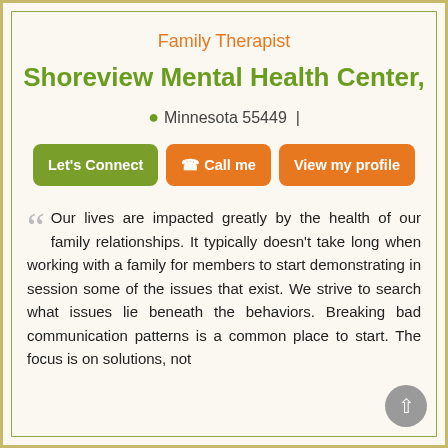Family Therapist
Shoreview Mental Health Center,
Minnesota 55449 |
[Figure (other): Three action buttons: 'Let's Connect' (dark green), 'Call me' (orange, with phone icon), 'View my profile' (orange)]
Our lives are impacted greatly by the health of our family relationships. It typically doesn't take long when working with a family for members to start demonstrating in session some of the issues that exist. We strive to search what issues lie beneath the behaviors. Breaking bad communication patterns is a common place to start. The focus is on solutions, not